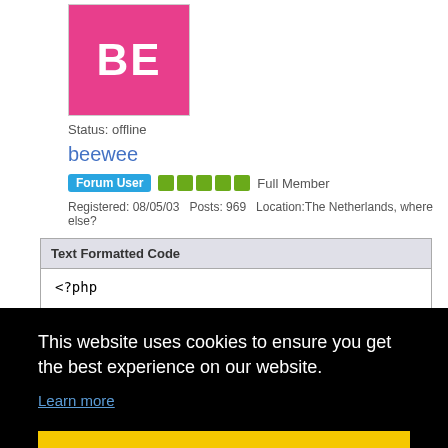[Figure (illustration): Pink/magenta square avatar with white letters BE in the center, representing user avatar for beewee]
Status: offline
beewee
Forum User  Full Member
Registered: 08/05/03   Posts: 969   Location: The Netherlands, where else?
Text Formatted Code
<?php
This website uses cookies to ensure you get the best experience on our website.
Learn more
Got it!